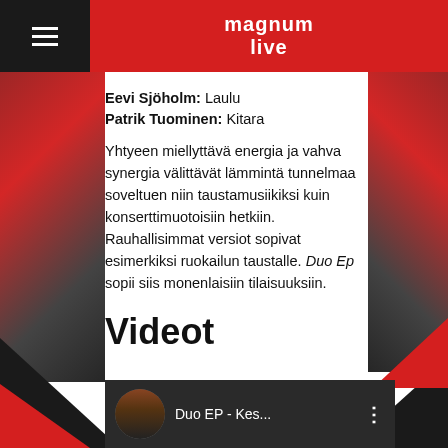magnum live
Eevi Sjöholm: Laulu
Patrik Tuominen: Kitara
Yhtyeen miellyttävä energia ja vahva synergia välittävät lämmintä tunnelmaa soveltuen niin taustamusiikiksi kuin konserttimuotoisiin hetkiin. Rauhallisimmat versiot sopivat esimerkiksi ruokailun taustalle. Duo Ep sopii siis monenlaisiin tilaisuuksiin.
Videot
[Figure (screenshot): Video thumbnail showing two people, circle avatar image, title 'Duo EP - Kes...' with options menu dots]